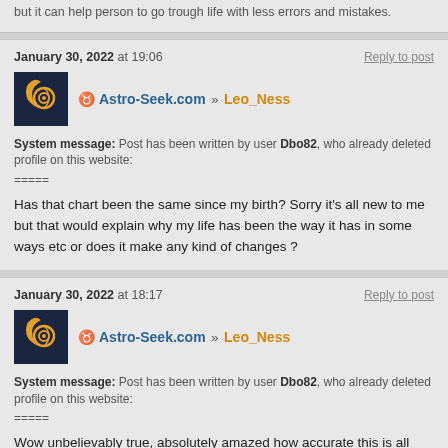but it can help person to go trough life with less errors and mistakes.
January 30, 2022 at 19:06
Reply to post
[Figure (logo): Astro-Seek.com logo: dark blue background with crescent moon and orange spiral symbol]
♉ Astro-Seek.com » Leo_Ness
System message: Post has been written by user Dbo82, who already deleted profile on this website:
=====
Has that chart been the same since my birth? Sorry it's all new to me but that would explain why my life has been the way it has in some ways etc or does it make any kind of changes ?
January 30, 2022 at 18:17
Reply to post
[Figure (logo): Astro-Seek.com logo: dark blue background with crescent moon and orange spiral symbol]
♉ Astro-Seek.com » Leo_Ness
System message: Post has been written by user Dbo82, who already deleted profile on this website:
=====
Wow unbelievably true, absolutely amazed how accurate this is all that about a